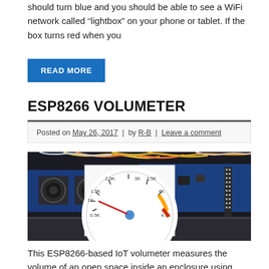should turn blue and you should be able to see a WiFi network called “lightbox” on your phone or tablet. If the box turns red when you
READ MORE
ESP8266 VOLUMETER
Posted on May 26, 2017 | by R-B | Leave a comment
[Figure (photo): Photo of ESP8266 hardware with ultrasonic sensors on a breadboard, overlaid with a volumeter gauge dial showing scale from 0.5K to 4.5K with needle pointing near 1K]
This ESP8266-based IoT volumeter measures the volume of an open space inside an enclosure using ultrasonic